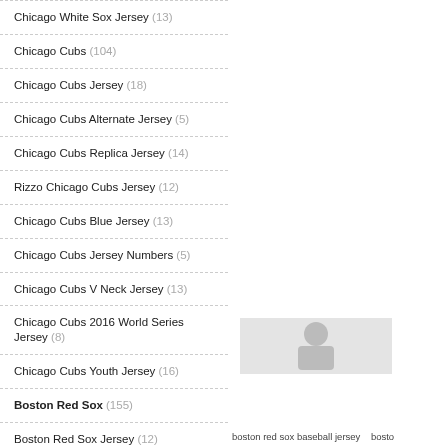Chicago White Sox Jersey (13)
Chicago Cubs (104)
Chicago Cubs Jersey (18)
Chicago Cubs Alternate Jersey (5)
Chicago Cubs Replica Jersey (14)
Rizzo Chicago Cubs Jersey (12)
Chicago Cubs Blue Jersey (13)
Chicago Cubs Jersey Numbers (5)
Chicago Cubs V Neck Jersey (13)
Chicago Cubs 2016 World Series Jersey (8)
Chicago Cubs Youth Jersey (16)
Boston Red Sox (155)
Boston Red Sox Jersey (12)
Boston Red Sox Baseball Jersey (20)
Boston Red Sox Jersey Cheap (12)
[Figure (photo): Person wearing a baseball jersey, partial figure visible]
boston red sox baseball jersey   bosto